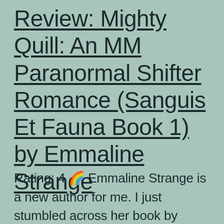Review: Mighty Quill: An MM Paranormal Shifter Romance (Sanguis Et Fauna Book 1) by Emmaline Strange
Rating: 4 🌈 Emmaline Strange is a new author for me. I just stumbled across her book by glancing at that terrific cover, and realized it represented a new opportunity to see a new author's take on shifters and a paranormal romance. I found that Mighty Quill has so many